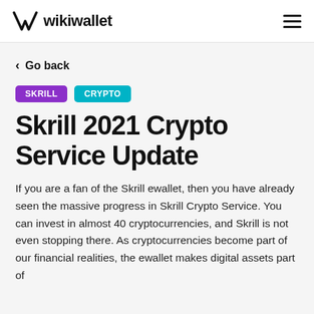wikiwallet
‹  Go back
SKRILL  CRYPTO
Skrill 2021 Crypto Service Update
If you are a fan of the Skrill ewallet, then you have already seen the massive progress in Skrill Crypto Service. You can invest in almost 40 cryptocurrencies, and Skrill is not even stopping there. As cryptocurrencies become part of our financial realities, the ewallet makes digital assets part of